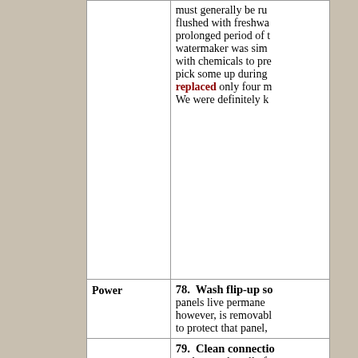| Category | Item |
| --- | --- |
|  | must generally be ru flushed with freshwa prolonged period of t watermaker was sim with chemicals to pre pick some up during replaced only four m We were definitely k |
| Power | 78.  Wash flip-up so panels live permane however, is removabl to protect that panel, |
|  | 79.  Clean connectio made sure that all of |
|  | 80.  Change Honda : to doing this before w |
Privacy & Cookies: This site uses cookies. By continuing to use this website, you agree to their use. To find out more, including how to control cookies, see here: Cookie Policy